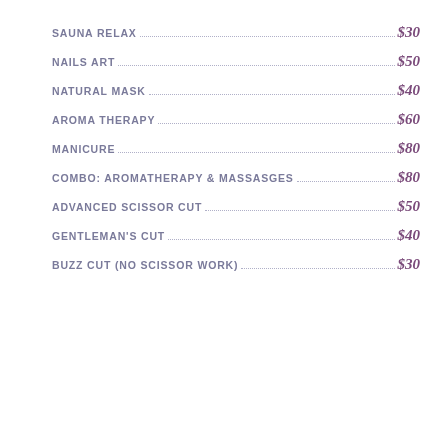SAUNA RELAX ... $30
NAILS ART ... $50
NATURAL MASK ... $40
AROMA THERAPY ... $60
MANICURE ... $80
COMBO: AROMATHERAPY & MASSASGES ... $80
ADVANCED SCISSOR CUT ... $50
GENTLEMAN'S CUT ... $40
BUZZ CUT (NO SCISSOR WORK) ... $30